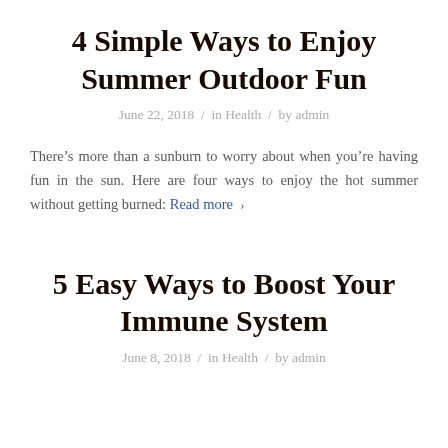4 Simple Ways to Enjoy Summer Outdoor Fun
June 22, 2018 / in Health / by admin
There’s more than a sunburn to worry about when you’re having fun in the sun. Here are four ways to enjoy the hot summer without getting burned: Read more ›
5 Easy Ways to Boost Your Immune System
June 8, 2018 / in Health / by admin